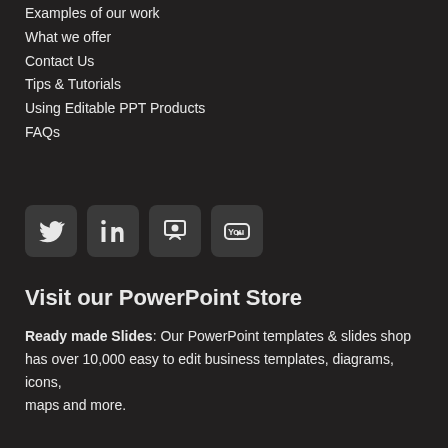Examples of our work
What we offer
Contact Us
Tips & Tutorials
Using Editable PPT Products
FAQs
[Figure (logo): Social media icons for Twitter, LinkedIn, SlideShare/Slideshare, and YouTube in rounded square icon style on dark background]
Visit our PowerPoint Store
Ready made Slides: Our PowerPoint templates & slides shop has over 10,000 easy to edit business templates, diagrams, icons, maps and more.